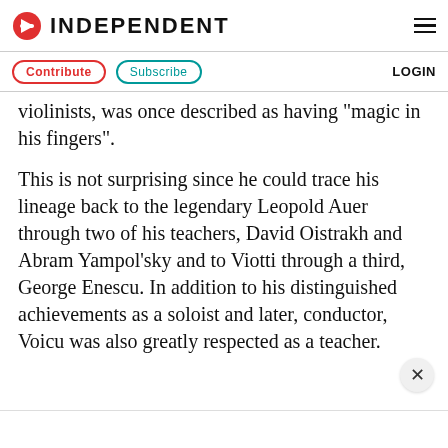INDEPENDENT
Contribute  Subscribe  LOGIN
violinists, was once described as having "magic in his fingers".
This is not surprising since he could trace his lineage back to the legendary Leopold Auer through two of his teachers, David Oistrakh and Abram Yampol'sky and to Viotti through a third, George Enescu. In addition to his distinguished achievements as a soloist and later, conductor, Voicu was also greatly respected as a teacher.